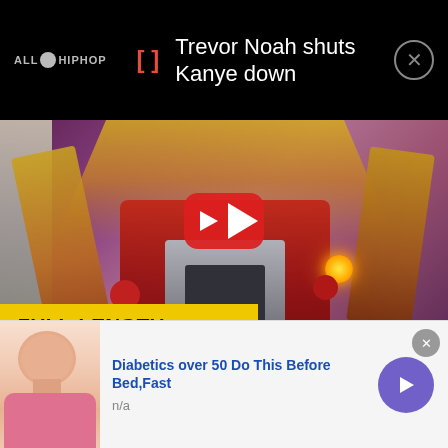[Figure (screenshot): AllHipHop notification bar with logo, bracket icon in red, notification title 'Trevor Noah shuts Kanye down', and close button]
Trevor Noah shuts Kanye down
[Figure (screenshot): YouTube video thumbnail showing a costumed wrestler/fighter figure with a YouTube play button overlay and a 'FULL-LENGTH MATCH' banner in yellow]
FULL-LENGTH MATCH
[Figure (screenshot): Advertisement banner: 'Diabetics over 50 Do This Before Bed,Fast' with n/a source label, illustration of a person, and a purple arrow button]
Diabetics over 50 Do This Before Bed,Fast
n/a